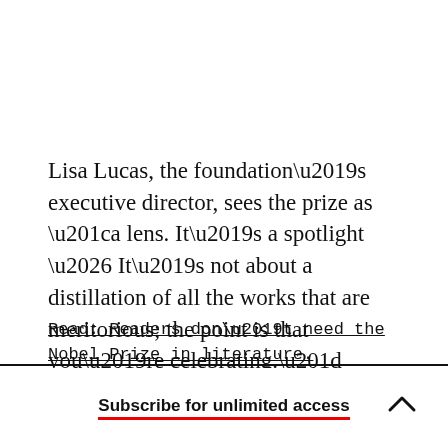Lisa Lucas, the foundation’s executive director, sees the prize as “a lens. It’s a spotlight … It’s not about a distillation of all the works that are meritorious; the point is that you’re celebrating.”
Read: Readers don’t need the Nobel Prize in literature.
Subscribe for unlimited access